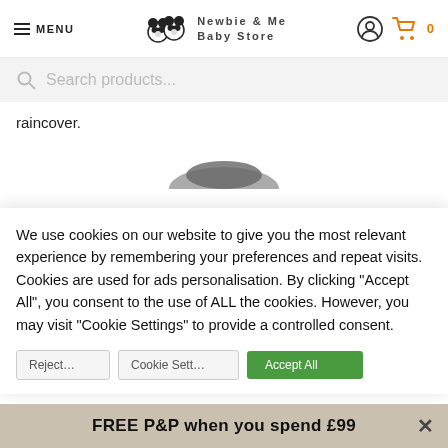MENU | Newbie & Me Baby Store | account icon | cart 0
Search products...
raincover.
[Figure (photo): Partial view of a baby product (pram/stroller accessory) in grey/dark color, cropped at bottom of visible area]
We use cookies on our website to give you the most relevant experience by remembering your preferences and repeat visits. Cookies are used for ads personalisation. By clicking "Accept All", you consent to the use of ALL the cookies. However, you may visit "Cookie Settings" to provide a controlled consent.
FREE P&P when you spend £99